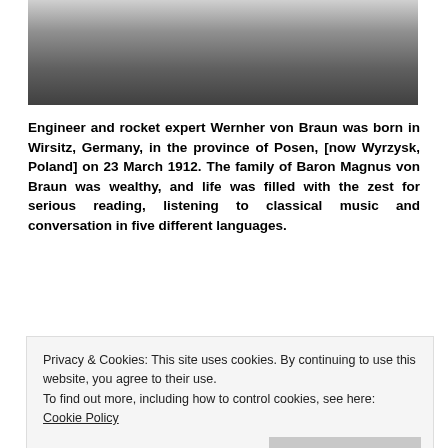[Figure (photo): Black and white photograph of people, partially visible at top of page]
Engineer and rocket expert Wernher von Braun was born in Wirsitz, Germany, in the province of Posen, [now Wyrzysk, Poland] on 23 March 1912. The family of Baron Magnus von Braun was wealthy, and life was filled with the zest for serious reading, listening to classical music and conversation in five different languages.
In 1899, German composer Paul Lincke wrote the
Privacy & Cookies: This site uses cookies. By continuing to use this website, you agree to their use.
To find out more, including how to control cookies, see here: Cookie Policy
unofficial anthem of the city of Berlin. In 1909, the